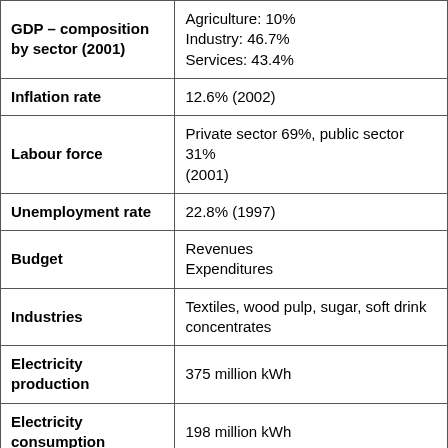| Indicator | Value |
| --- | --- |
| GDP – composition by sector (2001) | Agriculture: 10%
Industry: 46.7%
Services: 43.4% |
| Inflation rate | 12.6% (2002) |
| Labour force | Private sector 69%, public sector 31%
(2001) |
| Unemployment rate | 22.8% (1997) |
| Budget | Revenues
Expenditures |
| Industries | Textiles, wood pulp, sugar, soft drink concentrates |
| Electricity production | 375 million kWh |
| Electricity consumption | 198 million kWh |